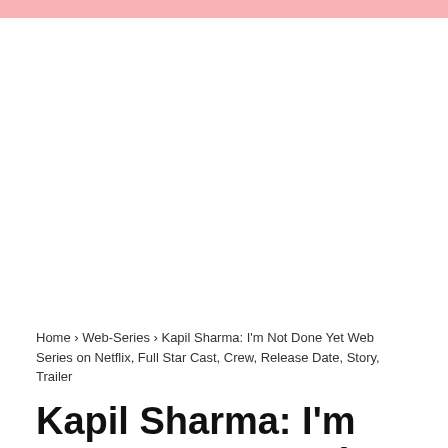Home › Web-Series › Kapil Sharma: I'm Not Done Yet Web Series on Netflix, Full Star Cast, Crew, Release Date, Story, Trailer
Kapil Sharma: I'm Not Done Yet Web